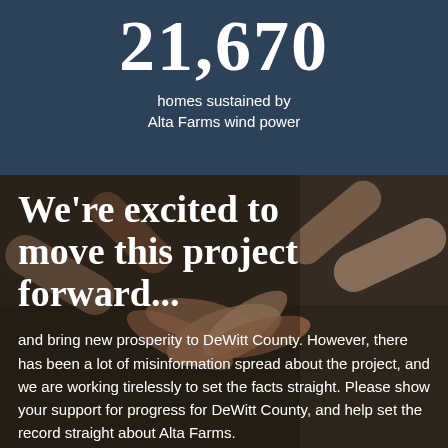21,670
homes sustained by Alta Farms wind power
[Figure (photo): Overhead view of multiple people's hands joined together in a group huddle on grass, symbolizing teamwork and community support]
We're excited to move this project forward...
and bring new prosperity to DeWitt County. However, there has been a lot of misinformation spread about the project, and we are working tirelessly to set the facts straight. Please show your support for progress for DeWitt County, and help set the record straight about Alta Farms.